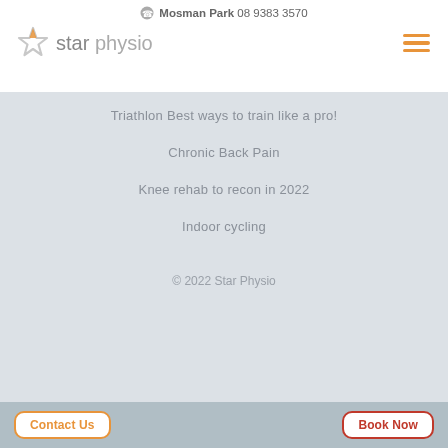Mosman Park 08 9383 3570
[Figure (logo): Star Physio logo with star icon and text 'star physio']
Triathlon Best ways to train like a pro!
Chronic Back Pain
Knee rehab to recon in 2022
Indoor cycling
© 2022 Star Physio
Contact Us
Book Now